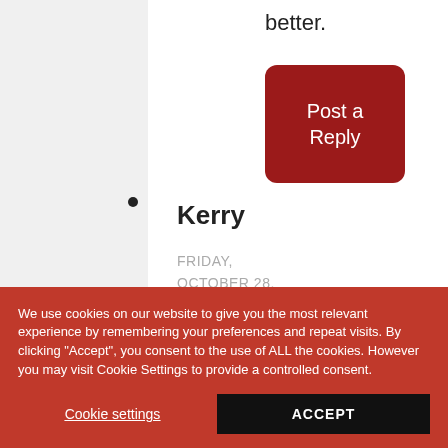better.
[Figure (other): Dark red rounded button labeled 'Post a Reply']
Kerry
FRIDAY, OCTOBER 28, 2011
We use cookies on our website to give you the most relevant experience by remembering your preferences and repeat visits. By clicking "Accept", you consent to the use of ALL the cookies. However you may visit Cookie Settings to provide a controlled consent.
Cookie settings
ACCEPT